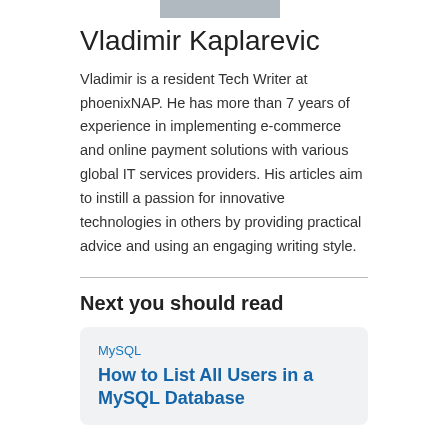[Figure (photo): Partial photo of Vladimir Kaplarevic at top of page]
Vladimir Kaplarevic
Vladimir is a resident Tech Writer at phoenixNAP. He has more than 7 years of experience in implementing e-commerce and online payment solutions with various global IT services providers. His articles aim to instill a passion for innovative technologies in others by providing practical advice and using an engaging writing style.
Next you should read
MySQL
How to List All Users in a MySQL Database